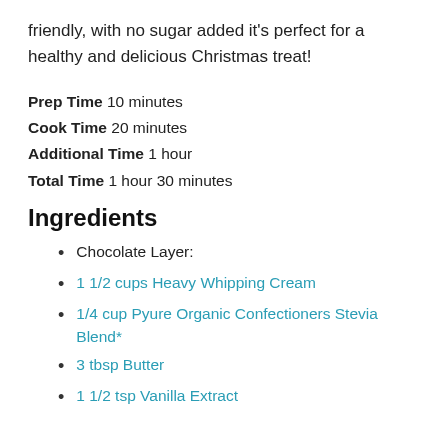friendly, with no sugar added it's perfect for a healthy and delicious Christmas treat!
Prep Time 10 minutes
Cook Time 20 minutes
Additional Time 1 hour
Total Time 1 hour 30 minutes
Ingredients
Chocolate Layer:
1 1/2 cups Heavy Whipping Cream
1/4 cup Pyure Organic Confectioners Stevia Blend*
3 tbsp Butter
1 1/2 tsp Vanilla Extract